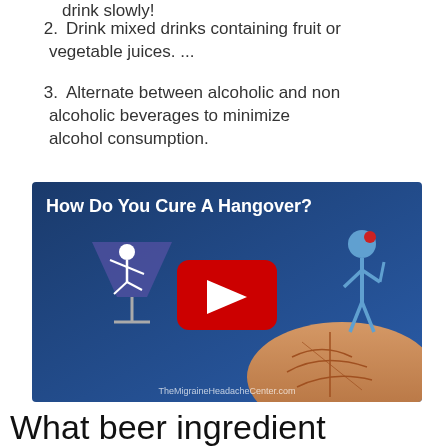drink slowly!
2. Drink mixed drinks containing fruit or vegetable juices. ...
3. Alternate between alcoholic and non alcoholic beverages to minimize alcohol consumption.
[Figure (screenshot): YouTube video thumbnail titled 'How Do You Cure A Hangover?' from TheMigraineHeadacheCenter.com, showing a blue background with stick figure characters and text 'Hair of t...' with a red YouTube play button in the center]
What beer ingredient causes headaches?